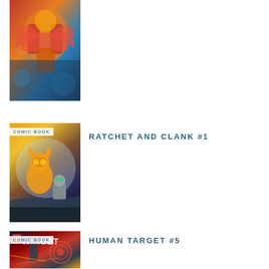[Figure (illustration): Comic book cover - partial view of an action comic, cropped at top]
[Figure (illustration): Comic book cover for Ratchet and Clank #1 with COMIC BOOK badge]
RATCHET AND CLANK #1
[Figure (illustration): Comic book cover for Human Target #5 with COMIC BOOK badge]
HUMAN TARGET #5